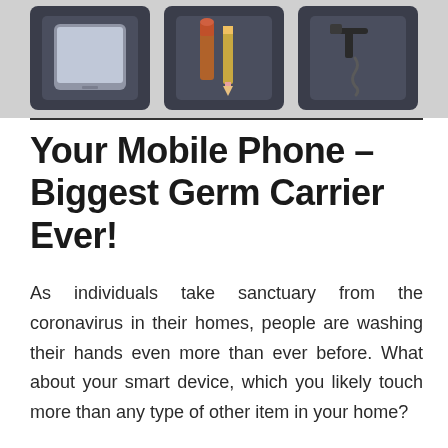[Figure (photo): Three dark trays photographed side by side: first tray contains a smartphone, second tray contains lipstick and a pencil, third tray contains a corkscrew/wine opener.]
Your Mobile Phone – Biggest Germ Carrier Ever!
As individuals take sanctuary from the coronavirus in their homes, people are washing their hands even more than ever before. What about your smart device, which you likely touch more than any type of other item in your home?
A smart device is one of the most personal item we have lugging it everywhere from the grocery store to bathrooms.